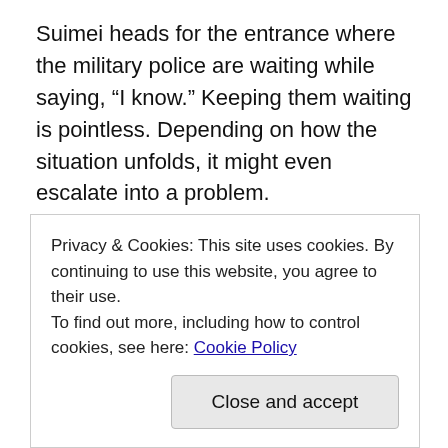Suimei heads for the entrance where the military police are waiting while saying, “I know.”  Keeping them waiting is pointless.  Depending on how the situation unfolds, it might even escalate into a problem.
Suimei calls out to the military police officer waiting at end of the hallway.  The man turns around and greets him with a bow.  He gives off a clean impression with his well-kept uniform, brisk conduct, and polite speech.  He says, “Meeting
Privacy & Cookies: This site uses cookies. By continuing to use this website, you agree to their use.
To find out more, including how to control cookies, see here: Cookie Policy
Close and accept
Suimei reigns ignorance by saying, “I see.”  What business do